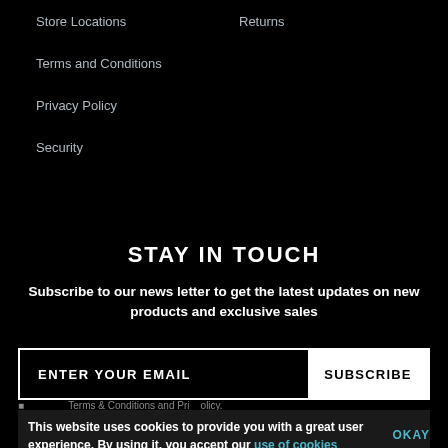Store Locations
Returns
Terms and Conditions
Privacy Policy
Security
STAY IN TOUCH
Subscribe to our news letter to get the latest updates on new products and exclusive sales
ENTER YOUR EMAIL
SUBSCRIBE
This website uses cookies to provide you with a great user experience. By using it, you accept our use of cookies
OKAY